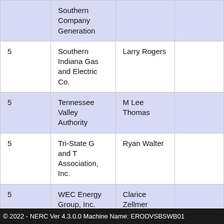|  |  |  |  |
| --- | --- | --- | --- |
|  | Southern Company Generation |  |  |
| 5 | Southern Indiana Gas and Electric Co. | Larry Rogers |  |
| 5 | Tennessee Valley Authority | M Lee Thomas |  |
| 5 | Tri-State G and T Association, Inc. | Ryan Walter |  |
| 5 | WEC Energy Group, Inc. | Clarice Zellmer |  |
| 6 | AEP | JT Kuehne |  |
© 2022 - NERC Ver 4.3.0.0 Machine Name: ERODVSBSWB01